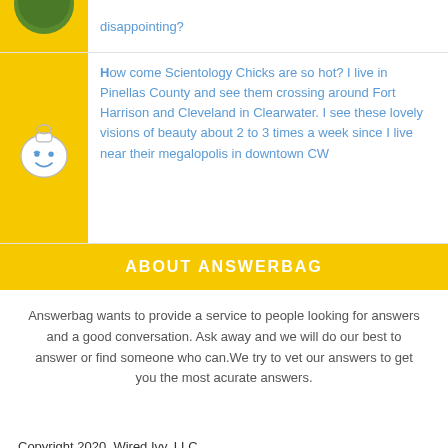[Figure (photo): Yellow background with partial view of a person's head/photo avatar at top]
disappointing?
[Figure (illustration): Yellow background with a smiley face bag/pouch logo (Answerbag mascot)]
How come Scientology Chicks are so hot? I live in Pinellas County and see them crossing around Fort Harrison and Cleveland in Clearwater. I see these lovely visions of beauty about 2 to 3 times a week since I live near their megalopolis in downtown CW
ABOUT ANSWERBAG
Answerbag wants to provide a service to people looking for answers and a good conversation. Ask away and we will do our best to answer or find someone who can.We try to vet our answers to get you the most acurate answers.
Copyright 2020, Wired Ivy, LLC
Answerbag | Terms of Service | Privacy Policy